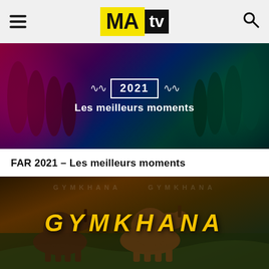MAatv — navigation header with hamburger menu and search icon
[Figure (photo): Banner image with dark coloured background showing silhouettes of people on left and right sides, with text '2021' in a bordered box and 'Les meilleurs moments' below, flanked by wavy white decorative lines]
FAR 2021 – Les meilleurs moments
[Figure (photo): Photo of horses in a field with warm golden/sepia tone, overlaid with the word GYMKHANA in large bold yellow italic spaced letters and a faint watermark text in the background]